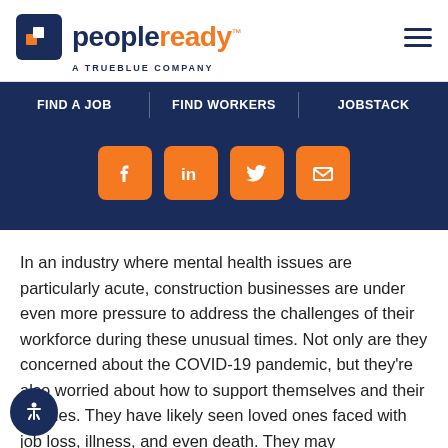[Figure (logo): PeopleReady logo with TrueBlue tagline — blue square icon with arrow, 'people' in dark blue bold, 'ready' in orange bold, 'A TRUEBLUE COMPANY' beneath]
FIND A JOB | FIND WORKERS | JOBSTACK
[Figure (infographic): Four orange square social media icon buttons: Facebook, LinkedIn, Twitter, and Email/envelope, displayed in a row on a dark navy background]
In an industry where mental health issues are particularly acute, construction businesses are under even more pressure to address the challenges of their workforce during these unusual times. Not only are they concerned about the COVID-19 pandemic, but they're also worried about how to support themselves and their families. They have likely seen loved ones faced with job loss, illness, and even death. They may